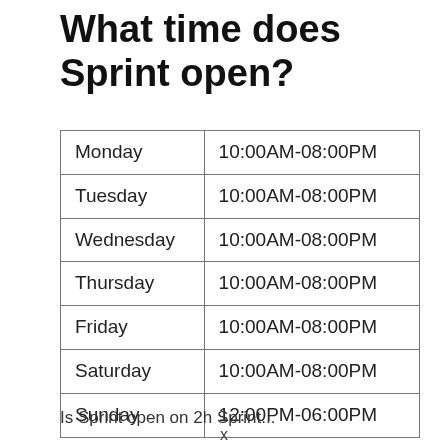What time does Sprint open?
| Monday | 10:00AM-08:00PM |
| Tuesday | 10:00AM-08:00PM |
| Wednesday | 10:00AM-08:00PM |
| Thursday | 10:00AM-08:00PM |
| Friday | 10:00AM-08:00PM |
| Saturday | 10:00AM-08:00PM |
| Sunday | 12:00PM-06:00PM |
Is Sprint open on 2h Sprint...